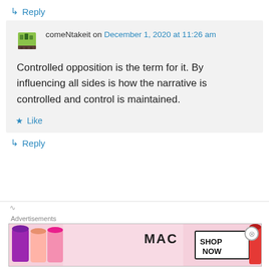↳ Reply
comeNtakeit on December 1, 2020 at 11:26 am
Controlled opposition is the term for it. By influencing all sides is how the narrative is controlled and control is maintained.
★ Like
↳ Reply
Advertisements
[Figure (photo): MAC cosmetics advertisement banner showing lipsticks with text SHOP NOW]